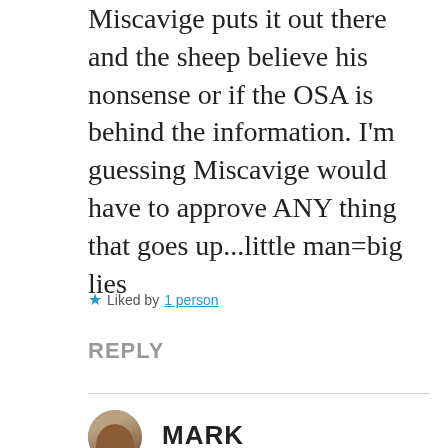Miscavige puts it out there and the sheep believe his nonsense or if the OSA is behind the information. I’m guessing Miscavige would have to approve ANY thing that goes up…little man=big lies
★ Liked by 1 person
REPLY
[Figure (photo): Circular avatar photo of a person (Mark)]
MARK